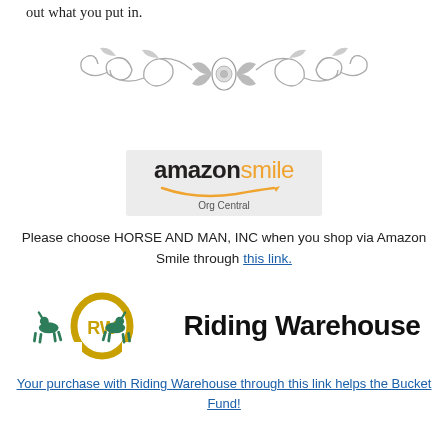out what you put in.
[Figure (illustration): Decorative floral/scroll divider ornament]
[Figure (logo): Amazon Smile Org Central logo]
Please choose HORSE AND MAN, INC when you shop via Amazon Smile through this link.
[Figure (logo): Riding Warehouse logo with two green horses and horseshoe emblem]
Your purchase with Riding Warehouse through this link helps the Bucket Fund!